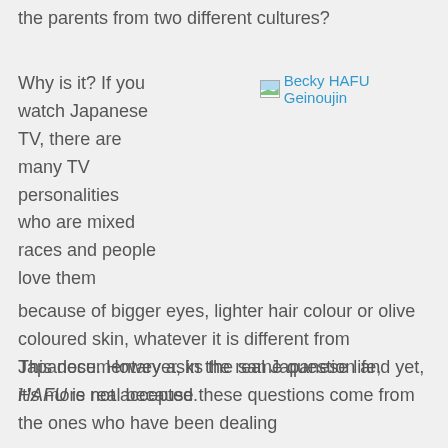the parents from two different cultures?
Why is it? If you watch Japanese TV, there are many TV personalities who are mixed races and people love them because of bigger eyes, lighter hair colour or olive coloured skin, whatever it is different from Japanese. However, in the real Japanese life, HAFU is not accepted.
[Figure (other): Broken image placeholder with caption 'Becky HAFU Geinoujin' shown as a hyperlink-style image reference in blue text]
This documentary asks the same question and yet, it's more real because these questions come from the ones who have been dealing